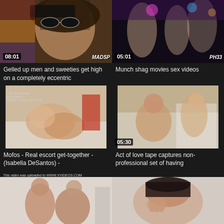[Figure (screenshot): Video thumbnail showing a woman with sunglasses, duration 08:01, watermark MADSP]
Gelled up men and sweeties get high on a completely eccentric
[Figure (screenshot): Video thumbnail showing party scene, duration 05:01, watermark PH33]
Munch shag movies sex videos
[Figure (screenshot): Video thumbnail with xvideos watermark, duration 07:50, watermark MOFOS.CO]
Mofos - Real escort get-together - (Isabella DeSantos) -
[Figure (screenshot): Video thumbnail showing two people, duration 05:30]
Act of love tape captures non-professional set of having
[Figure (screenshot): Video thumbnail with xvideos watermark, partially visible]
[Figure (screenshot): Video thumbnail showing woman, partially visible]